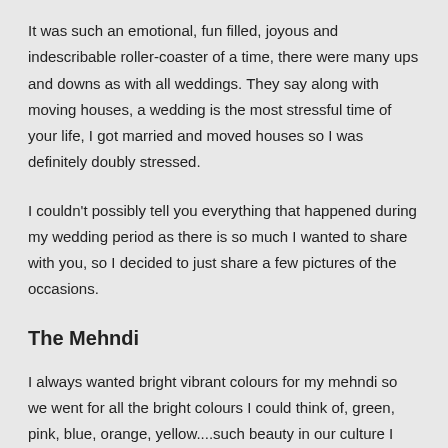It was such an emotional, fun filled, joyous and indescribable roller-coaster of a time, there were many ups and downs as with all weddings. They say along with moving houses, a wedding is the most stressful time of your life, I got married and moved houses so I was definitely doubly stressed.
I couldn't possibly tell you everything that happened during my wedding period as there is so much I wanted to share with you, so I decided to just share a few pictures of the occasions.
The Mehndi
I always wanted bright vibrant colours for my mehndi so we went for all the bright colours I could think of, green, pink, blue, orange, yellow....such beauty in our culture I had to incorporate it into my day.